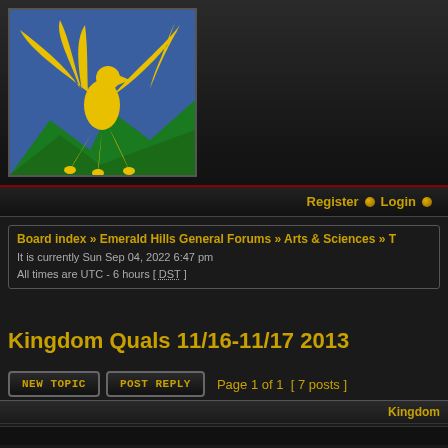[Figure (logo): Emerald Hills phoenix logo - yellow phoenix bird on blue background with green mountain silhouette]
Register  Login
Board index » Emerald Hills General Forums » Arts & Sciences » T
It is currently Sun Sep 04, 2022 6:47 pm
All times are UTC - 6 hours [ DST ]
Kingdom Quals 11/16-11/17 2013
New Topic  Post Reply  Page 1 of 1  [ 7 posts ]
Kingdom
Kingdom